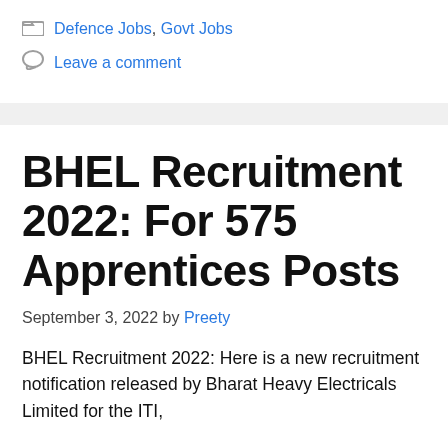Defence Jobs, Govt Jobs
Leave a comment
BHEL Recruitment 2022: For 575 Apprentices Posts
September 3, 2022 by Preety
BHEL Recruitment 2022: Here is a new recruitment notification released by Bharat Heavy Electricals Limited for the ITI, Diploma and Graduate level candidates. The